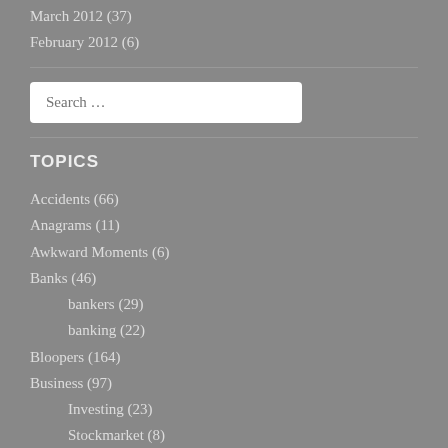March 2012 (37)
February 2012 (6)
Search ...
TOPICS
Accidents (66)
Anagrams (11)
Awkward Moments (6)
Banks (46)
bankers (29)
banking (22)
Bloopers (164)
Business (97)
Investing (23)
Stockmarket (8)
Cars (26)
driving (17)